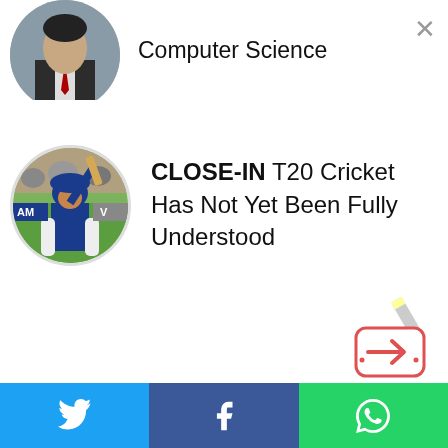Computer Science
CLOSE-IN T20 Cricket Has Not Yet Been Fully Understood
[Figure (screenshot): Floating navigation icon with arrow pointing right, pencil graphic]
[Figure (infographic): Share bar with Twitter (blue), Facebook (dark blue), and WhatsApp (green) buttons]